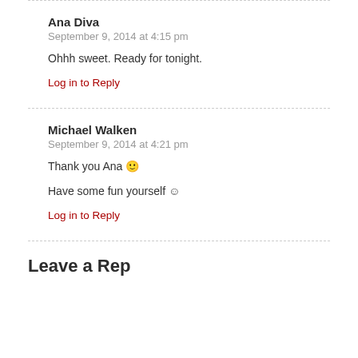Ana Diva
September 9, 2014 at 4:15 pm
Ohhh sweet. Ready for tonight.
Log in to Reply
Michael Walken
September 9, 2014 at 4:21 pm
Thank you Ana 🙂
Have some fun yourself ☺
Log in to Reply
Leave a Reply